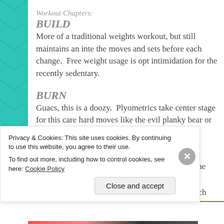Workout Chapters:
BUILD
More of a traditional weights workout, but still maintains an inte the moves and sets before each change.  Free weight usage is opt intimidation for the recently sedentary.
BURN
Guacs, this is a doozy.  Plyometrics take center stage for this care hard moves like the evil planky bear or real move name: Lateral
SWEAT
Your muscles will get HIIT from the front and the back with this routine.  Expect 45 second sets with 3 sets in each rotation.  Mo
Privacy & Cookies: This site uses cookies. By continuing to use this website, you agree to their use.
To find out more, including how to control cookies, see here: Cookie Policy